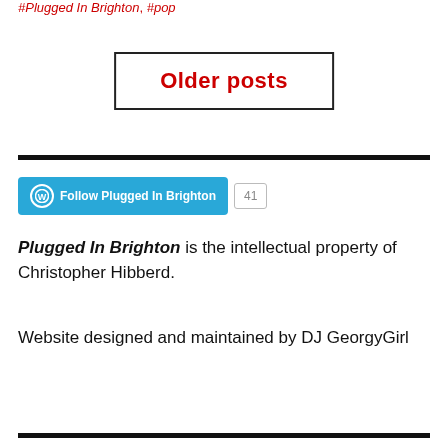#Plugged In Brighton, #pop
Older posts
[Figure (other): Follow Plugged In Brighton WordPress follow button with count 41]
Plugged In Brighton is the intellectual property of Christopher Hibberd.
Website designed and maintained by DJ GeorgyGirl